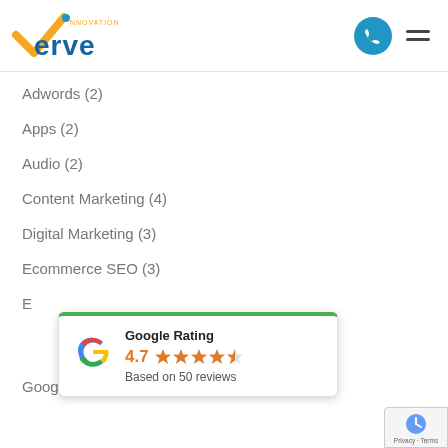Innovation Verve logo with phone icon and menu
Adwords (2)
Apps (2)
Audio (2)
Content Marketing (4)
Digital Marketing (3)
Ecommerce SEO (3)
[Figure (other): Google Rating card showing 4.7 stars based on 50 reviews with Google G logo]
Google My Business (4)